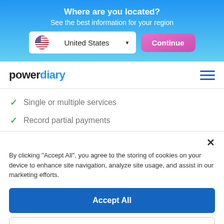Where are you located?
See the best information for your region
[Figure (screenshot): Location selector dropdown showing United States with flag icon and a pink Continue button]
[Figure (logo): Power Diary logo with hamburger menu icon]
Single or multiple services
Record partial payments
By clicking “Accept All”, you agree to the storing of cookies on your device to enhance site navigation, analyze site usage, and assist in our marketing efforts.
Accept All
Cookie Settings